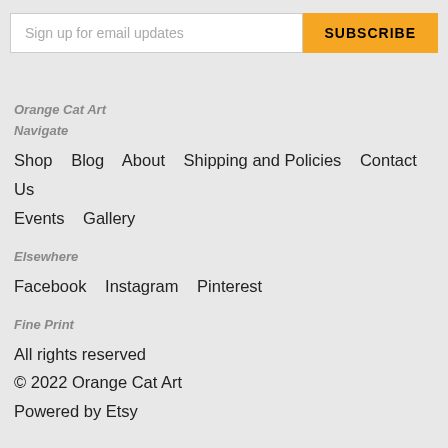[Figure (screenshot): Email subscribe input field with placeholder text 'Sign up for email updates' and an orange SUBSCRIBE button]
Orange Cat Art
Navigate
Shop
Blog
About
Shipping and Policies
Contact Us
Events
Gallery
Elsewhere
Facebook
Instagram
Pinterest
Fine Print
All rights reserved
© 2022 Orange Cat Art
Powered by Etsy